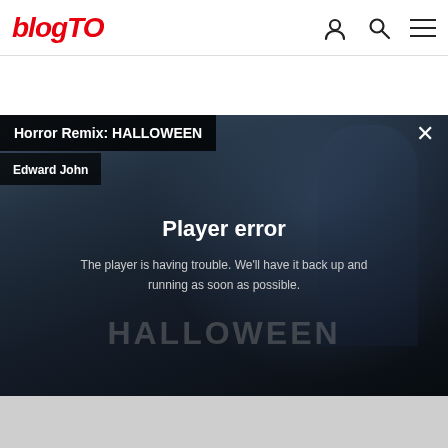blogTO
[Figure (screenshot): Video player showing Horror Remix: HALLOWEEN with a player error message overlay. The player has a dark background with a silhouetted figure. Text reads: Player error. The player is having trouble. We'll have it back up and running as soon as possible. The word HALLOWEEN appears as a watermark.]
Horror Remix: HALLOWEEN
Edward John
Player error
The player is having trouble. We'll have it back up and running as soon as possible.